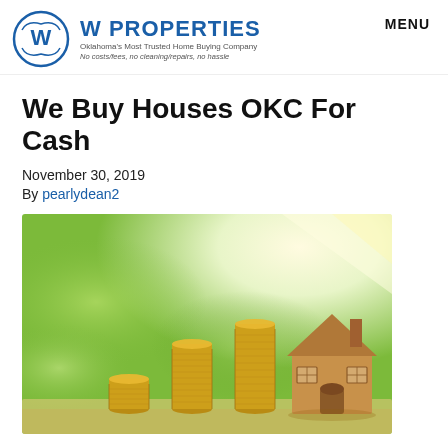W PROPERTIES — Oklahoma's Most Trusted Home Buying Company — No costs/fees, no cleaning/repairs, no hassle — MENU
We Buy Houses OKC For Cash
November 30, 2019
By pearlydean2
[Figure (photo): Stacks of coins increasing in height alongside a small wooden house model, set against a blurred green outdoor background with sunlight.]